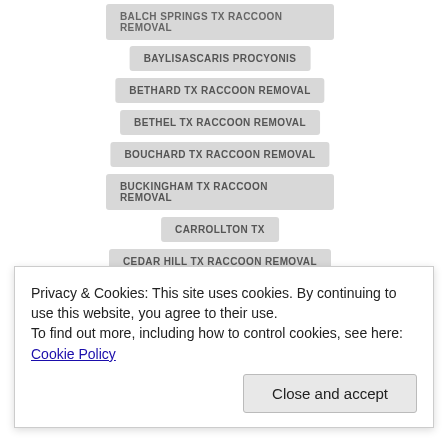BALCH SPRINGS TX RACCOON REMOVAL
BAYLISASCARIS PROCYONIS
BETHARD TX RACCOON REMOVAL
BETHEL TX RACCOON REMOVAL
BOUCHARD TX RACCOON REMOVAL
BUCKINGHAM TX RACCOON REMOVAL
CARROLLTON TX
CEDAR HILL TX RACCOON REMOVAL
CEDARVIEW TX RACCOON REMOVAL
CENTERVILLE TX RACCOON REMOVAL
CENTRAL TIME ZONE (NORTH AMERICA)
Privacy & Cookies: This site uses cookies. By continuing to use this website, you agree to their use. To find out more, including how to control cookies, see here: Cookie Policy
Close and accept